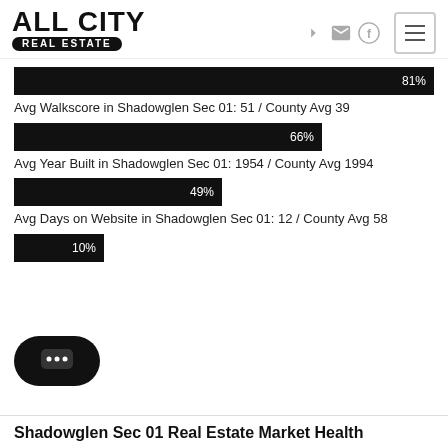[Figure (logo): All City Real Estate logo with bold text and pill-shaped label]
[Figure (bar-chart): Walkscore bar]
Avg Walkscore in Shadowglen Sec 01: 51 / County Avg 39
[Figure (bar-chart): Year Built bar]
Avg Year Built in Shadowglen Sec 01: 1954 / County Avg 1994
[Figure (bar-chart): Days on Website bar]
Avg Days on Website in Shadowglen Sec 01: 12 / County Avg 58
[Figure (bar-chart): Small bar 10%]
Shadowglen Sec 01 Real Estate Market Health